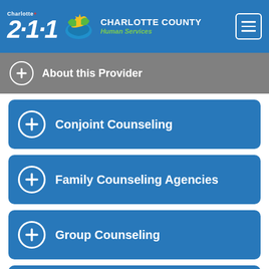Charlotte 211 - Charlotte County Human Services
About this Provider
Conjoint Counseling
Family Counseling Agencies
Group Counseling
Individual Counseling